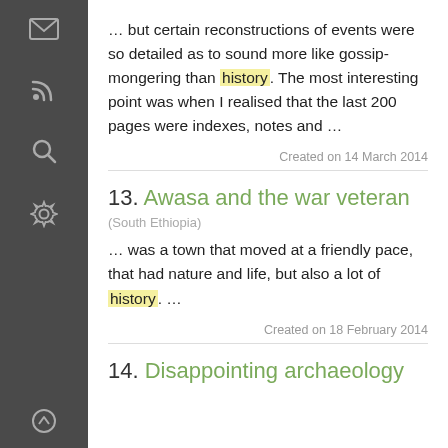… but certain reconstructions of events were so detailed as to sound more like gossip-mongering than history. The most interesting point was when I realised that the last 200 pages were indexes, notes and …
Created on 14 March 2014
13. Awasa and the war veteran
(South Ethiopia)
… was a town that moved at a friendly pace, that had nature and life, but also a lot of history. …
Created on 18 February 2014
14. Disappointing archaeology